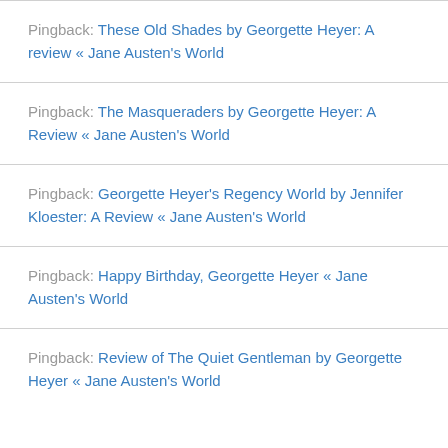Pingback: These Old Shades by Georgette Heyer: A review « Jane Austen's World
Pingback: The Masqueraders by Georgette Heyer: A Review « Jane Austen's World
Pingback: Georgette Heyer's Regency World by Jennifer Kloester: A Review « Jane Austen's World
Pingback: Happy Birthday, Georgette Heyer « Jane Austen's World
Pingback: Review of The Quiet Gentleman by Georgette Heyer « Jane Austen's World